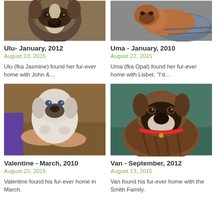[Figure (photo): Close-up photo of a boxer dog face looking at camera]
Ulu- January, 2012
August 13, 2015
Ulu (fka Jasmine) found her fur-ever home with John &…
[Figure (photo): Brown boxer dog resting on a grey dog bed]
Uma - January, 2010
August 22, 2015
Uma (fka Opal) found her fur-ever home with Lisbet. "I'd…
[Figure (photo): Small white boxer puppy being held in hands]
Valentine - March, 2010
August 22, 2015
Valentine found his fur-ever home in March.
[Figure (photo): Brindle boxer dog with red collar looking at camera]
Van - September, 2012
August 13, 2015
Van found his fur-ever home with the Smith Family.